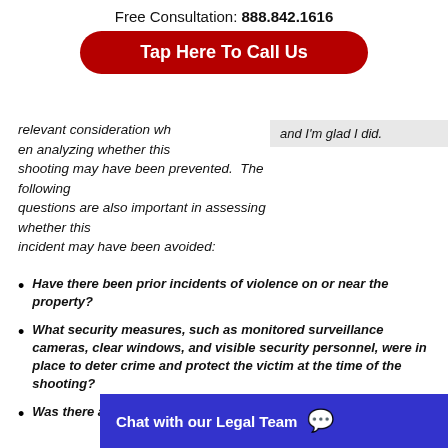Free Consultation: 888.842.1616
Tap Here To Call Us
relevant consideration when analyzing whether this shooting may have been prevented.  The following questions are also important in assessing whether this incident may have been avoided:
and I'm glad I did.
Have there been prior incidents of violence on or near the property?
What security measures, such as monitored surveillance cameras, clear windows, and visible security personnel, were in place to deter crime and protect the victim at the time of the shooting?
Was there any suspicious people or activity on the property pri
Chat with our Legal Team